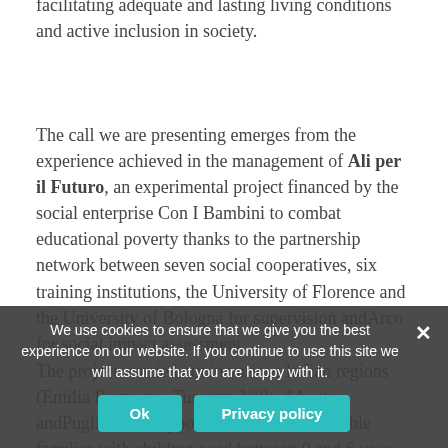facilitating adequate and lasting living conditions and active inclusion in society.
The call we are presenting emerges from the experience achieved in the management of Ali per il Futuro, an experimental project financed by the social enterprise Con I Bambini to combat educational poverty thanks to the partnership network between seven social cooperatives, six training institutions, the University of Florence and the University of Bologna for supervision andArco for social impact assessment.
The project, carried out in various Italian regions (Emilia Romagna, Tuscany, Valle d'Aosta andPuglia), has supported over 160 vulnerable families with children aged between 0 and 6 ye... family project subdivides... the care and education of children... training and career guidance for one of the two...